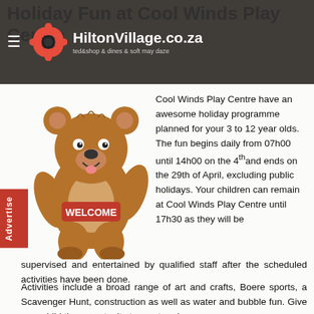Holiday Fun at Cool Winds Play Centre — HiltonVillage.co.za
[Figure (illustration): Cartoon brown bear holding a red 'WELCOME' sign]
Cool Winds Play Centre have an awesome holiday programme planned for your 3 to 12 year olds. The fun begins daily from 07h00 until 14h00 on the 4th and ends on the 29th of April, excluding public holidays. Your children can remain at Cool Winds Play Centre until 17h30 as they will be supervised and entertained by qualified staff after the scheduled activities have been done.
Activities include a broad range of art and crafts, Boere sports, a Scavenger Hunt, construction as well as water and bubble fun. Give your child the opportunity to meet and